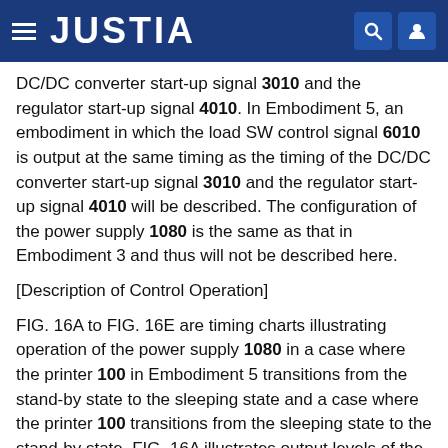JUSTIA
DC/DC converter start-up signal 3010 and the regulator start-up signal 4010. In Embodiment 5, an embodiment in which the load SW control signal 6010 is output at the same timing as the timing of the DC/DC converter start-up signal 3010 and the regulator start-up signal 4010 will be described. The configuration of the power supply 1080 is the same as that in Embodiment 3 and thus will not be described here.
[Description of Control Operation]
FIG. 16A to FIG. 16E are timing charts illustrating operation of the power supply 1080 in a case where the printer 100 in Embodiment 5 transitions from the stand-by state to the sleeping state and a case where the printer 100 transitions from the sleeping state to the stand-by state. FIG. 16A illustrates output levels of the AC/DC...